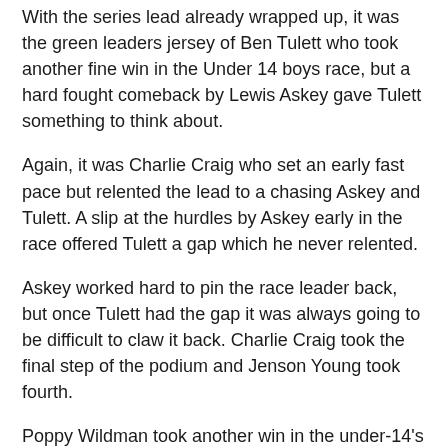With the series lead already wrapped up, it was the green leaders jersey of Ben Tulett who took another fine win in the Under 14 boys race, but a hard fought comeback by Lewis Askey gave Tulett something to think about.
Again, it was Charlie Craig who set an early fast pace but relented the lead to a chasing Askey and Tulett. A slip at the hurdles by Askey early in the race offered Tulett a gap which he never relented.
Askey worked hard to pin the race leader back, but once Tulett had the gap it was always going to be difficult to claw it back. Charlie Craig took the final step of the podium and Jenson Young took fourth.
Poppy Wildman took another win in the under-14's girls race and the series overall.
A chasing Nicole Clarke was unable to get a handle on Wildman throughout the race and had to content with